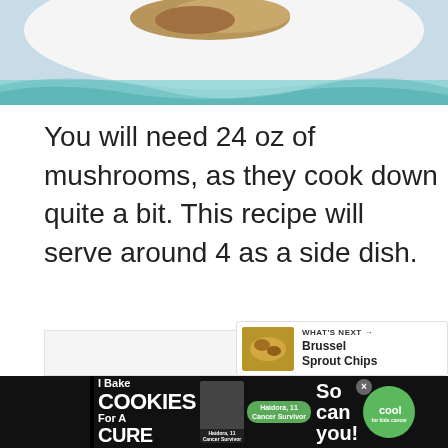[Figure (photo): Partial view of a plate of food (mushrooms) on a blue and white decorative surface, cropped at top of page]
You will need 24 oz of mushrooms, as they cook down quite a bit. This recipe will serve around 4 as a side dish.
[Figure (other): Gray placeholder advertisement box with three gray dots in center, heart/like button showing 1.1K, share button, and a What's Next panel showing Brussel Sprout Chips]
[Figure (infographic): Black advertisement banner: 'I Bake COOKIES For A CURE' with image of woman and text 'So can you!' with green cookies for kids cancer badge, Haidora 11 Cancer Survivor label, and X close button]